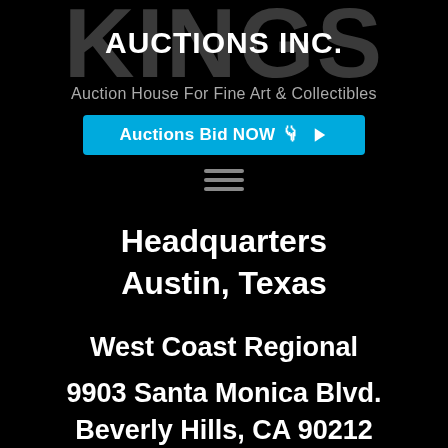[Figure (logo): Kings Auctions Inc. logo — large grey 'KINGS' text in background with bold white 'AUCTIONS INC.' overlaid on top]
Auction House For Fine Art & Collectibles
Auctions Bid NOW ➤
[Figure (other): Hamburger menu icon — three horizontal grey lines]
Headquarters
Austin, Texas
West Coast Regional
9903 Santa Monica Blvd.
Beverly Hills, CA 90212